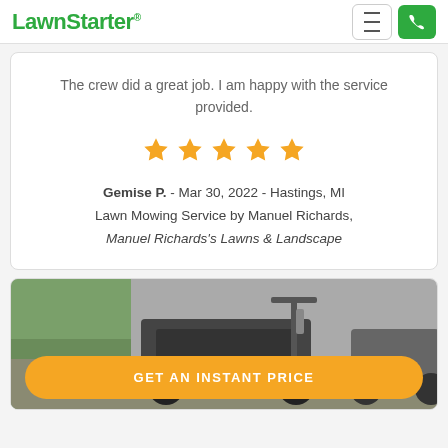LawnStarter
The crew did a great job. I am happy with the service provided.
[Figure (other): 5 gold star rating]
Gemise P. - Mar 30, 2022 - Hastings, MI
Lawn Mowing Service by Manuel Richards,
Manuel Richards's Lawns & Landscape
[Figure (photo): Lawn mowing equipment / outdoor scene]
GET AN INSTANT PRICE